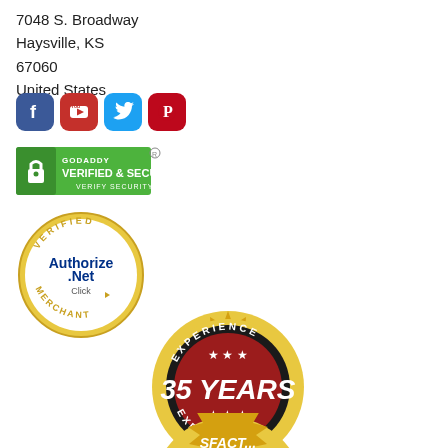7048 S. Broadway
Haysville, KS
67060
United States
[Figure (logo): Social media icons: Facebook (blue), YouTube (red), Twitter (light blue), Pinterest (red)]
[Figure (logo): GoDaddy Verified & Secured badge with lock icon and 'VERIFY SECURITY' text]
[Figure (logo): Authorize.Net Verified Merchant badge with gold border and 'Click' text]
[Figure (logo): 35 Years Experience gold seal badge with red center and stars]
[Figure (logo): Partial satisfaction badge at bottom, gold seal partially visible]